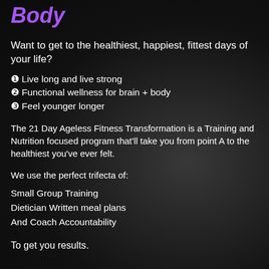Body
Want to get to the healthiest, happiest, fittest days of your life?
❶ Live long and live strong
❷ Functional wellness for brain + body
❸ Feel younger longer
The 21 Day Ageless Fitness Transformation is a Training and Nutrition focused program that'll take you from point A to the healthiest you've ever felt.
We use the perfect trifecta of:
Small Group Training
Dietician Written meal plans
And Coach Accountability
To get you results.